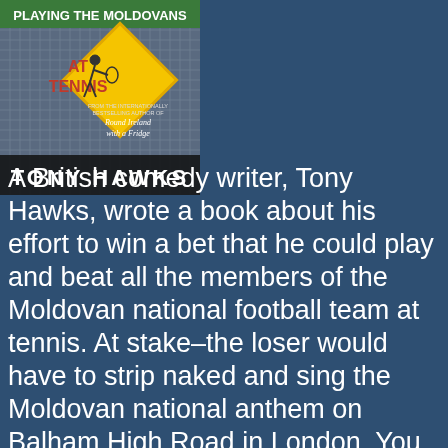[Figure (illustration): Book cover for 'Playing the Moldovans at Tennis' by Tony Hawks. Shows a yellow diamond-shaped road sign with a tennis player silhouette, tennis net background, and the author name 'TONY HAWKS' in large white letters at the bottom. Also references 'Round Ireland with a Fridge'.]
A British comedy writer, Tony Hawks, wrote a book about his effort to win a bet that he could play and beat all the members of the Moldovan national football team at tennis. At stake–the loser would have to strip naked and sing the Moldovan national anthem on Balham High Road in London. You don't need to know anything about Moldova or tennis to enjoy